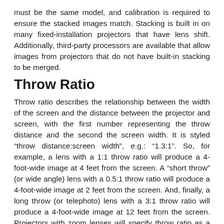must be the same model, and calibration is required to ensure the stacked images match. Stacking is built in on many fixed-installation projectors that have lens shift. Additionally, third-party processors are available that allow images from projectors that do not have built-in stacking to be merged.
Throw Ratio
Throw ratio describes the relationship between the width of the screen and the distance between the projector and screen, with the first number representing the throw distance and the second the screen width. It is styled “throw distance:screen width”, e.g.: “1.3:1”. So, for example, a lens with a 1:1 throw ratio will produce a 4-foot-wide image at 4 feet from the screen. A “short throw” (or wide angle) lens with a 0.5:1 throw ratio will produce a 4-foot-wide image at 2 feet from the screen. And, finally, a long throw (or telephoto) lens with a 3:1 throw ratio will produce a 4-foot-wide image at 12 feet from the screen. Projectors with zoom lenses will specify throw ratio as a range, e.g., “1.3:1 to 1.7:1”. Unless otherwise noted, throw ratio is based on the native aspect ratio of the projector.